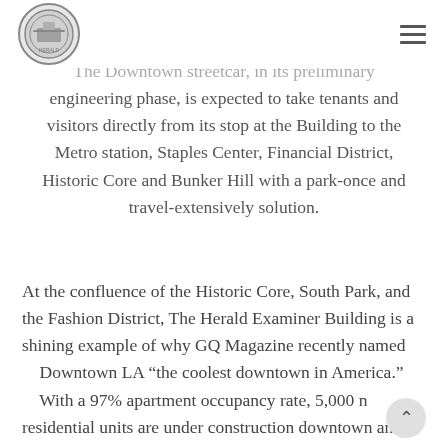[Logo] [Hamburger menu]
The Downtown streetcar, in its preliminary engineering phase, is expected to take tenants and visitors directly from its stop at the Building to the Metro station, Staples Center, Financial District, Historic Core and Bunker Hill with a park-once and travel-extensively solution.
At the confluence of the Historic Core, South Park, and the Fashion District, The Herald Examiner Building is a shining example of why GQ Magazine recently named Downtown LA “the coolest downtown in America.” With a 97% apartment occupancy rate, 5,000 new residential units are under construction downtown and